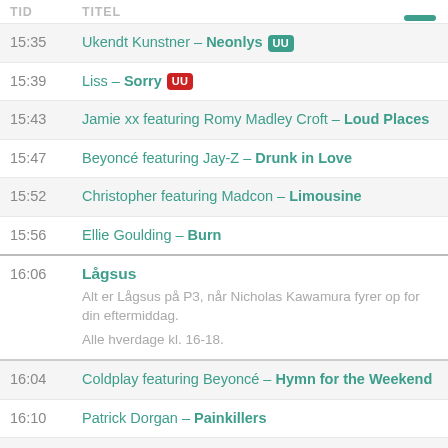TID   TITEL
15:35  Ukendt Kunstner – Neonlys [UU]
15:39  Liss – Sorry [UU]
15:43  Jamie xx featuring Romy Madley Croft – Loud Places
15:47  Beyoncé featuring Jay-Z – Drunk in Love
15:52  Christopher featuring Madcon – Limousine
15:56  Ellie Goulding – Burn
Lågsus
Alt er Lågsus på P3, når Nicholas Kawamura fyrer op for din eftermiddag. Alle hverdage kl. 16-18.
16:04  Coldplay featuring Beyoncé – Hymn for the Weekend
16:10  Patrick Dorgan – Painkillers
16:14  Mads Langer – 3 AM (Lågsus Remix)
16:18  Jarryd James – Do You Remember [UU]
16:22  Taylor Swift – Style
16:27  Rihanna featuring Drake – Work